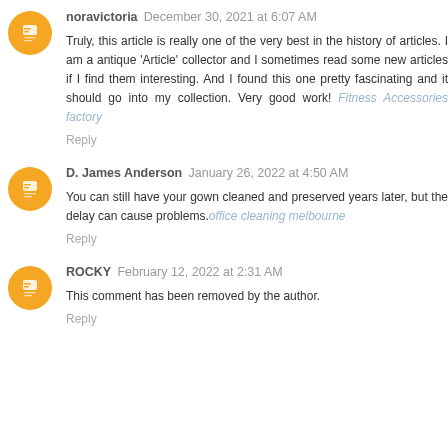noravictoria  December 30, 2021 at 6:07 AM
Truly, this article is really one of the very best in the history of articles. I am a antique 'Article' collector and I sometimes read some new articles if I find them interesting. And I found this one pretty fascinating and it should go into my collection. Very good work! Fitness Accessories factory
Reply
D. James Anderson  January 26, 2022 at 4:50 AM
You can still have your gown cleaned and preserved years later, but the delay can cause problems. office cleaning melbourne
Reply
ROCKY  February 12, 2022 at 2:31 AM
This comment has been removed by the author.
Reply